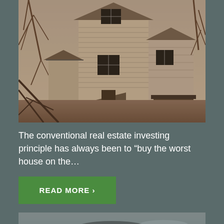[Figure (photo): An old, dilapidated two-story wooden house surrounded by bare winter trees. The house has peeling white paint, dark windows, broken porch, and visible structural deterioration.]
The conventional real estate investing principle has always been to “buy the worst house on the…
READ MORE >
[Figure (photo): Partial view of a blurred photograph at the bottom of the page, showing what appears to be a dark object on a surface.]